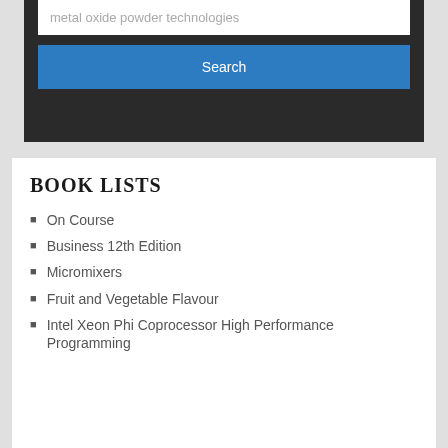metal oxide powder technologies
Search
BOOK LISTS
On Course
Business 12th Edition
Micromixers
Fruit and Vegetable Flavour
Intel Xeon Phi Coprocessor High Performance Programming